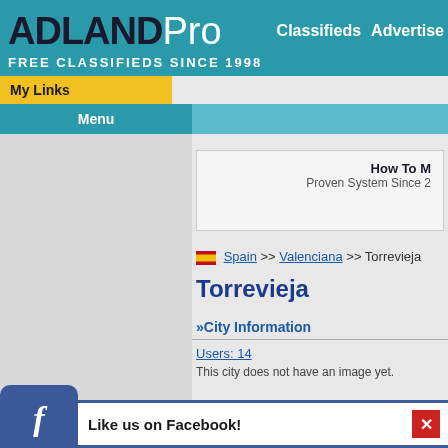ADLANDPro - FREE CLASSIFIEDS SINCE 1998 - Classifieds | Advertise
My Links
Menu
[Figure (other): Advertisement box with text 'How To M...' and 'Proven System Since 2...']
🇪🇸 Spain >> Valenciana >> Torrevieja
Torrevieja
»City Information
Users: 14
This city does not have an image yet.
Like us on Facebook!